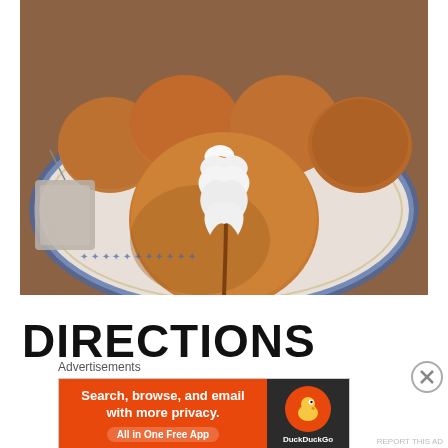[Figure (photo): Photo of round bread rolls (Krapfen/donuts) on a blue-rimmed white plate, with one in the foreground split open and filled with white cream/whipped cream. A tea bag is visible on the left side of the plate.]
DIRECTIONS
[Figure (screenshot): Advertisement overlay: 'Advertisements' label above a DuckDuckGo banner ad with orange left panel reading 'Search, browse, and email with more privacy. All in One Free App' and a dark right panel with DuckDuckGo duck logo. A close (X) button appears to the right.]